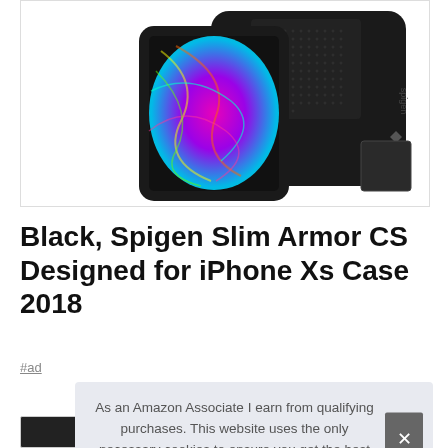[Figure (photo): Product photo of a Spigen Slim Armor CS iPhone case in black, showing the case from multiple angles including the front with a colorful phone screen and the back showing a dotted texture pattern and Spigen logo.]
Black, Spigen Slim Armor CS Designed for iPhone Xs Case 2018
#ad
As an Amazon Associate I earn from qualifying purchases. This website uses the only necessary cookies to ensure you get the best experience on our website. More information